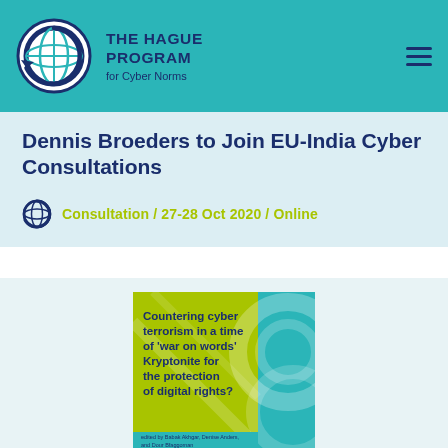THE HAGUE PROGRAM for Cyber Norms
Dennis Broeders to Join EU-India Cyber Consultations
Consultation / 27-28 Oct 2020 / Online
[Figure (illustration): Book cover: Countering cyber terrorism in a time of 'war on words' Kryptonite for the protection of digital rights? edited by Babak Akhgar, Denise Anders, and Dour Bfaggoman]